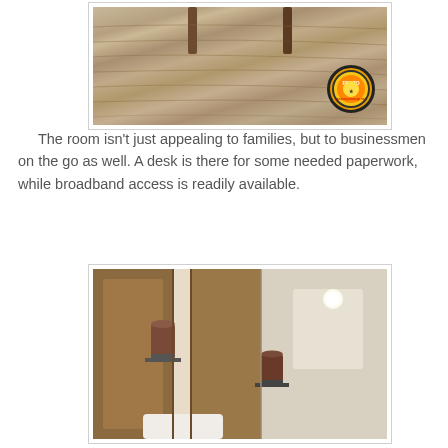[Figure (photo): Close-up photo of a wooden floor/table surface with a watermark logo badge in the bottom right corner]
The room isn't just appealing to families, but to businessmen on the go as well. A desk is there for some needed paperwork, while broadband access is readily available.
[Figure (photo): Interior hotel room photo showing wooden wardrobe/bathroom area with cylindrical wall lamps mounted on a mirror surface]